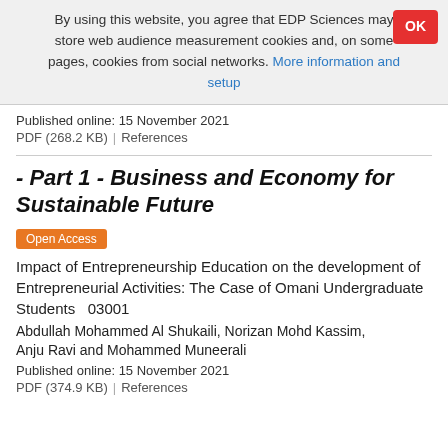By using this website, you agree that EDP Sciences may store web audience measurement cookies and, on some pages, cookies from social networks. More information and setup
Published online: 15 November 2021
PDF (268.2 KB)  |  References
- Part 1 - Business and Economy for Sustainable Future
Open Access
Impact of Entrepreneurship Education on the development of Entrepreneurial Activities: The Case of Omani Undergraduate Students  03001
Abdullah Mohammed Al Shukaili, Norizan Mohd Kassim, Anju Ravi and Mohammed Muneerali
Published online: 15 November 2021
PDF (374.9 KB)  |  References